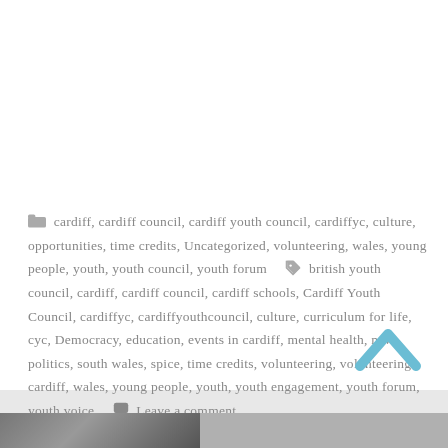📁 cardiff, cardiff council, cardiff youth council, cardiffyc, culture, opportunities, time credits, Uncategorized, volunteering, wales, young people, youth, youth council, youth forum 🏷 british youth council, cardiff, cardiff council, cardiff schools, Cardiff Youth Council, cardiffyc, cardiffyouthcouncil, culture, curriculum for life, cyc, Democracy, education, events in cardiff, mental health, new, politics, south wales, spice, time credits, volunteering, volunteering cardiff, wales, young people, youth, youth engagement, youth forum, youth voice 💬 Leave a comment
[Figure (photo): Gray photo strip at bottom showing tree branches against sky]